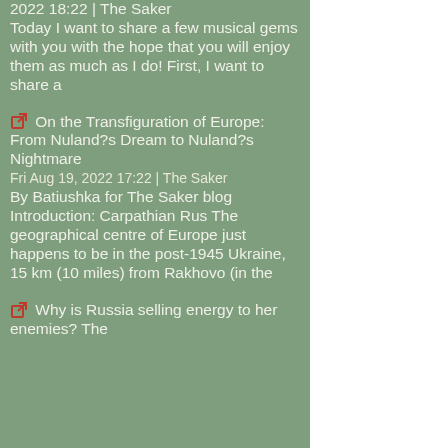2022 18:22 | The Saker
Today I want to share a few musical gems with you with the hope that you will enjoy them as much as I do! First, I want to share a
On the Transfiguration of Europe: From Nuland?s Dream to Nuland?s Nightmare
Fri Aug 19, 2022 17:22 | The Saker
By Batiushka for The Saker blog Introduction: Carpathian Rus The geographical centre of Europe just happens to be in the post-1945 Ukraine, 15 km (10 miles) from Rakhovo (in the
Why is Russia selling energy to her enemies? The